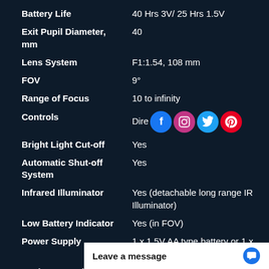| Specification | Value |
| --- | --- |
| Battery Life | 40 Hrs 3V/ 25 Hrs 1.5V |
| Exit Pupil Diameter, mm | 40 |
| Lens System | F1:1.54, 108 mm |
| FOV | 9° |
| Range of Focus | 10 to infinity |
| Controls | Dire... |
| Bright Light Cut-off | Yes |
| Automatic Shut-off System | Yes |
| Infrared Illuminator | Yes (detachable long range IR Illuminator) |
| Low Battery Indicator | Yes (in FOV) |
| Power Supply | 1 x 1.5V AA type battery or 1 x 3V CR123A type battery |
| Environmental Rating | Waterproof |
| Operating Temperature |  |
| Storage Temperature |  |
[Figure (other): Social media icons: Facebook, Instagram, Twitter, Pinterest overlaid on Controls row]
Leave a message